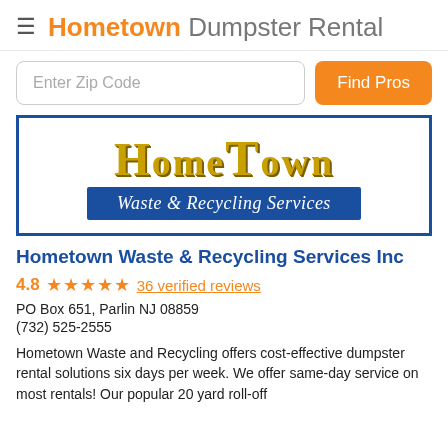≡ Hometown Dumpster Rental
[Figure (screenshot): Zip code search bar with 'Enter Zip Code' placeholder and 'Find Pros' orange button]
[Figure (logo): HomeTown Waste & Recycling Services logo with gold serif text 'HomeTown' and blue banner reading 'Waste & Recycling Services']
Hometown Waste & Recycling Services Inc
4.8 ★★★★★ 36 verified reviews
PO Box 651, Parlin NJ 08859
(732) 525-2555
Hometown Waste and Recycling offers cost-effective dumpster rental solutions six days per week. We offer same-day service on most rentals! Our popular 20 yard roll-off